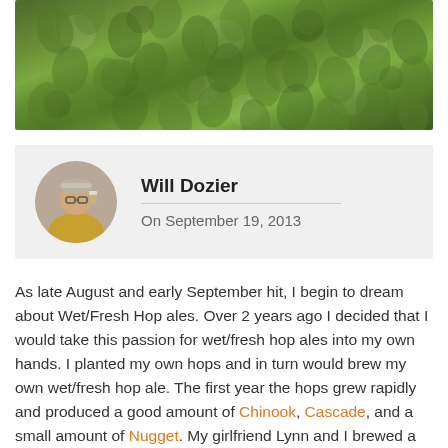[Figure (photo): Close-up photo of green hop cones/flowers piled together]
Will Dozier
On September 19, 2013
As late August and early September hit, I begin to dream about Wet/Fresh Hop ales. Over 2 years ago I decided that I would take this passion for wet/fresh hop ales into my own hands. I planted my own hops and in turn would brew my own wet/fresh hop ale. The first year the hops grew rapidly and produced a good amount of Chinook, Cascade, and a small amount of Nugget. My girlfriend Lynn and I brewed a fresh hopped pale ale that was a hit at our Halloween party. The second year did not